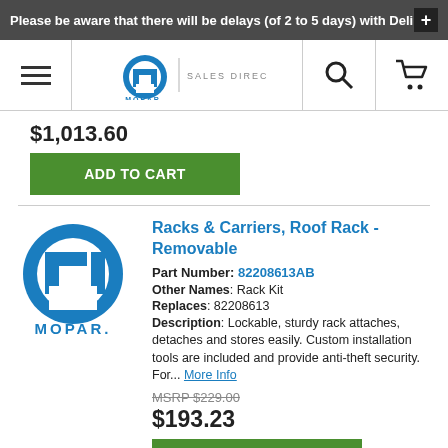Please be aware that there will be delays (of 2 to 5 days) with Deli
[Figure (logo): Mopar Sales Direct logo with navigation icons (hamburger menu, Mopar logo, search icon, cart icon)]
$1,013.60
ADD TO CART
Racks & Carriers, Roof Rack - Removable
Part Number: 82208613AB
Other Names: Rack Kit
Replaces: 82208613
Description: Lockable, sturdy rack attaches, detaches and stores easily. Custom installation tools are included and provide anti-theft security. For... More Info
MSRP $229.00
$193.23
ADD TO CART